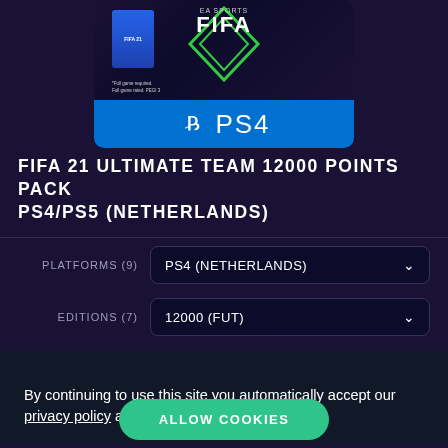[Figure (screenshot): FIFA 21 Ultimate Team product image showing game cover and PS4 logo on blue background]
FIFA 21 ULTIMATE TEAM 12000 POINTS PACK PS4/PS5 (NETHERLANDS)
PLATFORMS (9)   PS4 (NETHERLANDS)
EDITIONS (7)   12000 (FUT)
$313.99 (strikethrough) $97.15
By continuing to use this site you automatically accept our privacy policy and terms and conditions.
$97.15
ALLOW COOKIES